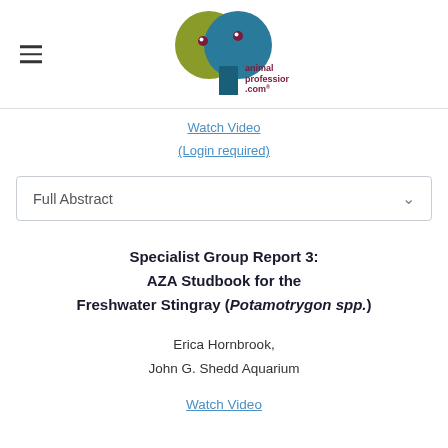[Figure (logo): animalprofessional.com logo with olive green and teal circles and dark teal rectangle]
Watch Video
(Login required)
Full Abstract
Specialist Group Report 3:
AZA Studbook for the
Freshwater Stingray (Potamotrygon spp.)
Erica Hornbrook,
John G. Shedd Aquarium
Watch Video